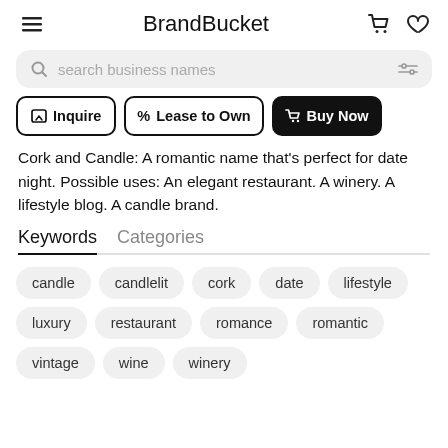BrandBucket
search business names
Inquire | % Lease to Own | Buy Now
Cork and Candle: A romantic name that's perfect for date night. Possible uses: An elegant restaurant. A winery. A lifestyle blog. A candle brand.
Keywords   Categories
candle
candlelit
cork
date
lifestyle
luxury
restaurant
romance
romantic
vintage
wine
winery